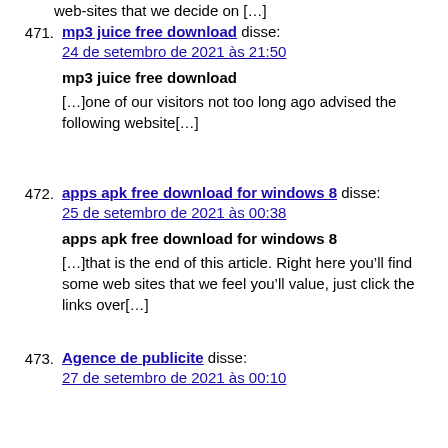web-sites that we decide on […]
471. mp3 juice free download disse:
24 de setembro de 2021 às 21:50

mp3 juice free download

[…]one of our visitors not too long ago advised the following website[…]
472. apps apk free download for windows 8 disse:
25 de setembro de 2021 às 00:38

apps apk free download for windows 8

[…]that is the end of this article. Right here you'll find some web sites that we feel you'll value, just click the links over[…]
473. Agence de publicite disse:
27 de setembro de 2021 às 00:10

Agence de publicite

[…]we prefer to honor many other net websites on the web, even when they aren't linked to us, by linking to them. Beneath are some webpages really worth checking out[…]
474. Computer Repair Bridgewater disse: